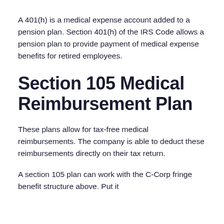A 401(h) is a medical expense account added to a pension plan. Section 401(h) of the IRS Code allows a pension plan to provide payment of medical expense benefits for retired employees.
Section 105 Medical Reimbursement Plan
These plans allow for tax-free medical reimbursements. The company is able to deduct these reimbursements directly on their tax return.
A section 105 plan can work with the C-Corp fringe benefit structure above. Put it